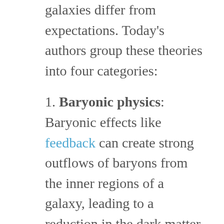galaxies differ from expectations. Today's authors group these theories into four categories:
1. Baryonic physics: Baryonic effects like feedback can create strong outflows of baryons from the inner regions of a galaxy, leading to a reduction in the dark matter content in those regions (causing rotation curves like the bottom right panel in Figure 1). At the same time, inflows of cold gas can have the opposite effect, increasing the density at the